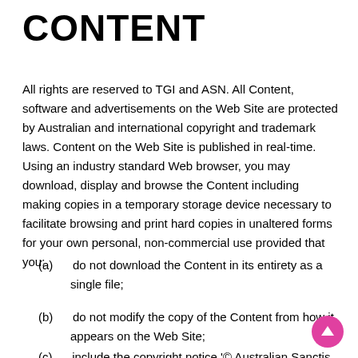CONTENT
All rights are reserved to TGI and ASN. All Content, software and advertisements on the Web Site are protected by Australian and international copyright and trademark laws. Content on the Web Site is published in real-time. Using an industry standard Web browser, you may download, display and browse the Content including making copies in a temporary storage device necessary to facilitate browsing and print hard copies in unaltered forms for your own personal, non-commercial use provided that you:
(a)	do not download the Content in its entirety as a single file;
(b)	do not modify the copy of the Content from how it appears on the Web Site;
(c)	include the copyright notice '© Australian Sanctis...